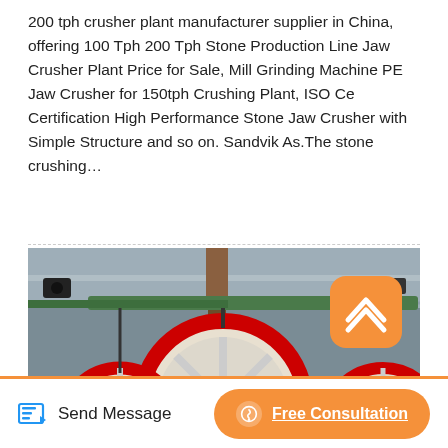200 tph crusher plant manufacturer supplier in China, offering 100 Tph 200 Tph Stone Production Line Jaw Crusher Plant Price for Sale, Mill Grinding Machine PE Jaw Crusher for 150tph Crushing Plant, ISO Ce Certification High Performance Stone Jaw Crusher with Simple Structure and so on. Sandvik As.The stone crushing…
[Figure (photo): Industrial stone crusher plant machinery showing large flywheel discs with red rims and white bodies, blue electric motors, and overhead crane/conveyor structures inside a factory warehouse setting.]
Send Message
Free Consultation